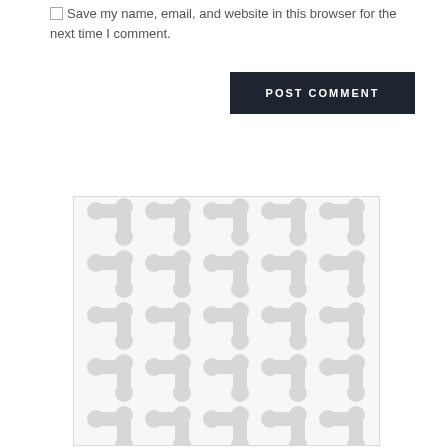Save my name, email, and website in this browser for the next time I comment.
POST COMMENT
[Figure (illustration): A decorative repeating pattern of rounded dumbbell/pill shapes in light grey on a white background, arranged in a tiled grid.]